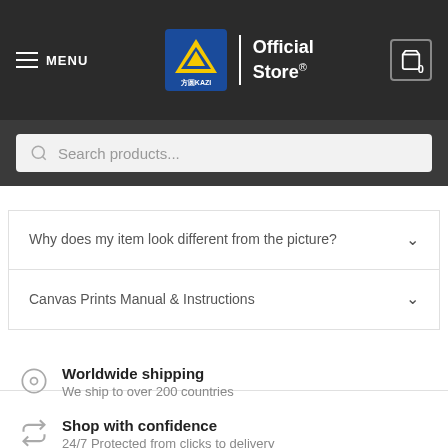MENU | KAZI Official Store® | Cart 0
Search products...
Why does my item look different from the picture?
Canvas Prints Manual & Instructions
Worldwide shipping
We ship to over 200 countries
Shop with confidence
24/7 Protected from clicks to delivery